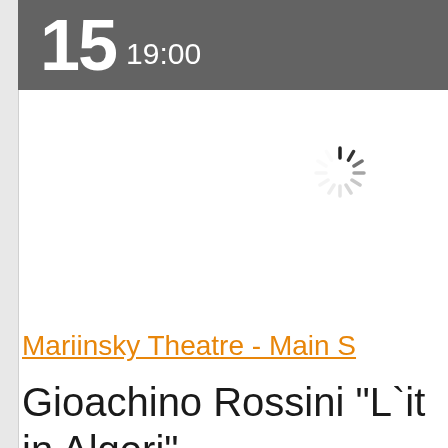15 19:00
[Figure (other): Loading spinner / activity indicator graphic]
Mariinsky Theatre - Main S
Gioachino Rossini "L`it in Algeri"